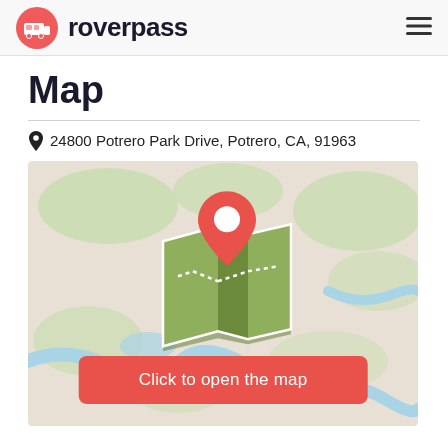roverpass
Map
24800 Potrero Park Drive, Potrero, CA, 91963
[Figure (map): Map view of Potrero, CA area with terrain features including green areas and blue waterways. Center shows a map pin icon (red location marker with white circle on a folded green map illustration). A red button labeled 'Click to open the map' is overlaid at the bottom center.]